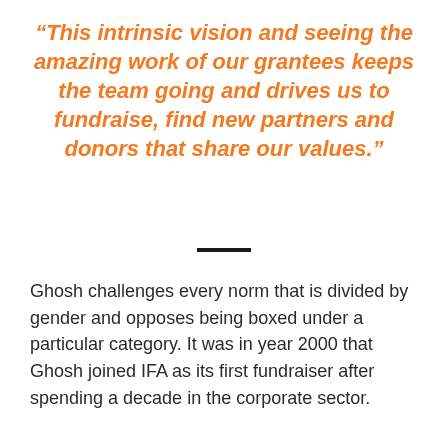“This intrinsic vision and seeing the amazing work of our grantees keeps the team going and drives us to fundraise, find new partners and donors that share our values.”
Ghosh challenges every norm that is divided by gender and opposes being boxed under a particular category. It was in year 2000 that Ghosh joined IFA as its first fundraiser after spending a decade in the corporate sector.